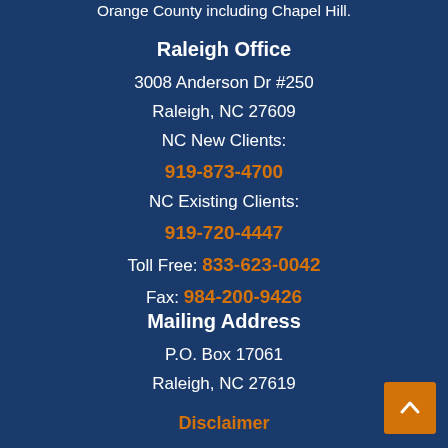Orange County including Chapel Hill.
Raleigh Office
3008 Anderson Dr #250
Raleigh, NC 27609
NC New Clients:
919-873-4700
NC Existing Clients:
919-720-4447
Toll Free: 833-623-0042
Fax: 984-200-9426
Mailing Address
P.O. Box 17061
Raleigh, NC 27619
Disclaimer